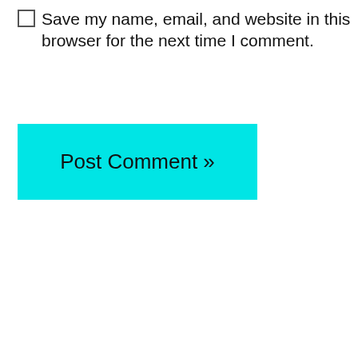Save my name, email, and website in this browser for the next time I comment.
Post Comment »